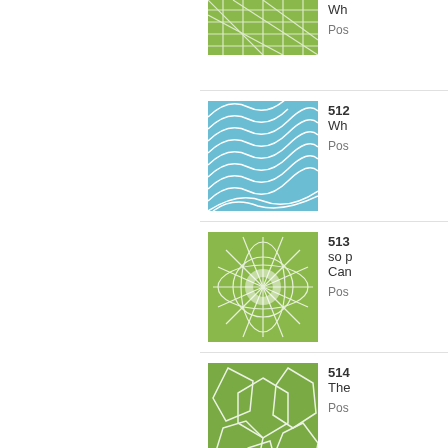[Figure (illustration): Green geometric net/lattice pattern thumbnail]
Wh
Pos
[Figure (illustration): Blue wave/ripple pattern thumbnail]
512
Wh
Pos
[Figure (illustration): Green sunburst/star pattern thumbnail]
513
so p
Can
Pos
[Figure (illustration): Green polygonal/cell pattern thumbnail]
514
The
Pos
[Figure (illustration): Green radial burst pattern thumbnail]
515
Bea
Pos